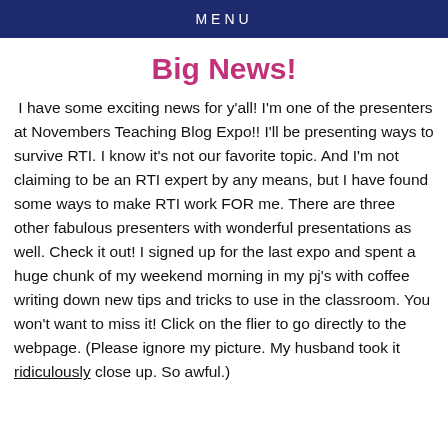MENU
Big News!
I have some exciting news for y'all! I'm one of the presenters at Novembers Teaching Blog Expo!! I'll be presenting ways to survive RTI. I know it's not our favorite topic. And I'm not claiming to be an RTI expert by any means, but I have found some ways to make RTI work FOR me. There are three other fabulous presenters with wonderful presentations as well. Check it out! I signed up for the last expo and spent a huge chunk of my weekend morning in my pj's with coffee writing down new tips and tricks to use in the classroom. You won't want to miss it! Click on the flier to go directly to the webpage. (Please ignore my picture. My husband took it ridiculously close up. So awful.)